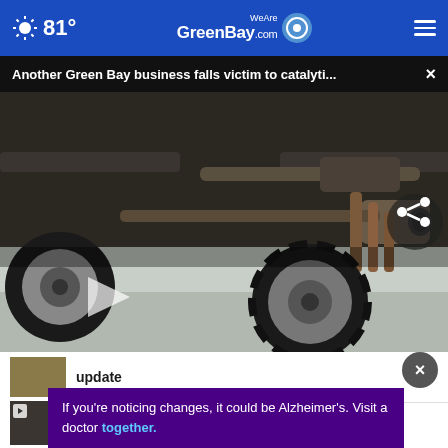81° WeAreGreenBay.com
Another Green Bay business falls victim to catalyti... ×
[Figure (photo): Underside of a vehicle showing exhaust system and catalytic converter, viewed from below]
update
FFA State Officer: Cole Hicken...
If you're noticing changes, it could be Alzheimer's. Visit a doctor together.